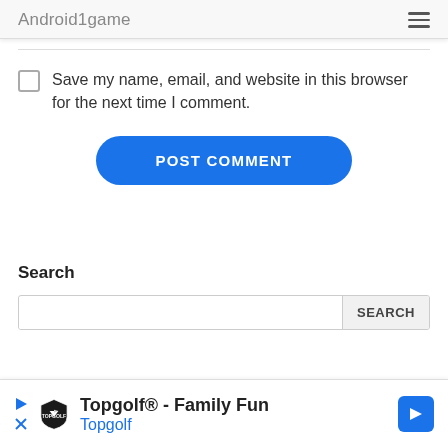Android1game
Save my name, email, and website in this browser for the next time I comment.
POST COMMENT
Search
SEARCH
[Figure (infographic): Advertisement banner for Topgolf® - Family Fun featuring Topgolf logo and navigation arrow button]